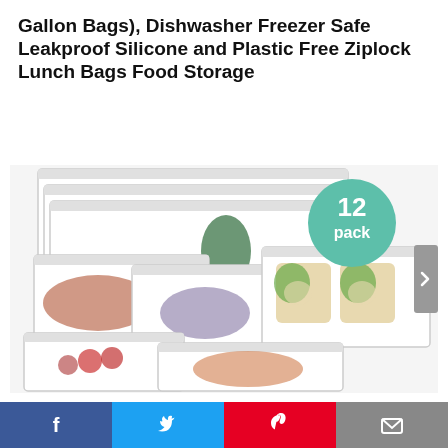Gallon Bags), Dishwasher Freezer Safe Leakproof Silicone and Plastic Free Ziplock Lunch Bags Food Storage
[Figure (photo): Product photo showing 12 clear reusable silicone/plastic-free ziplock storage bags of various sizes arranged in a spread, containing various foods (cucumber, meat, bread slices, berries, vegetables). A teal circle badge reads '12 pack'. A gray navigation arrow is on the right edge.]
Facebook | Twitter | Pinterest | Email